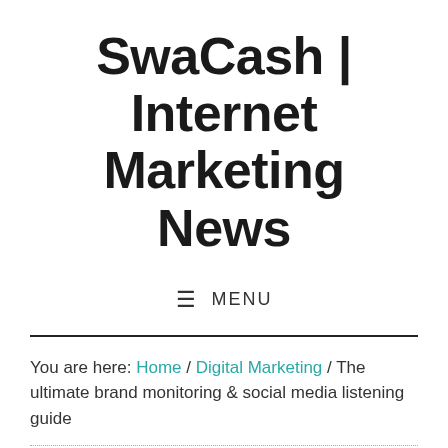SwaCash | Internet Marketing News
≡  MENU
You are here: Home / Digital Marketing / The ultimate brand monitoring & social media listening guide
The ultimate brand monit...